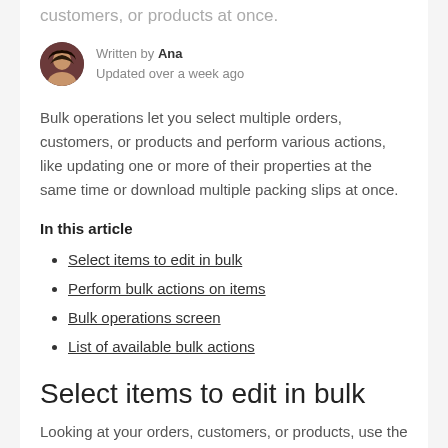customers, or products at once.
Written by Ana
Updated over a week ago
Bulk operations let you select multiple orders, customers, or products and perform various actions, like updating one or more of their properties at the same time or download multiple packing slips at once.
In this article
Select items to edit in bulk
Perform bulk actions on items
Bulk operations screen
List of available bulk actions
Select items to edit in bulk
Looking at your orders, customers, or products, use the